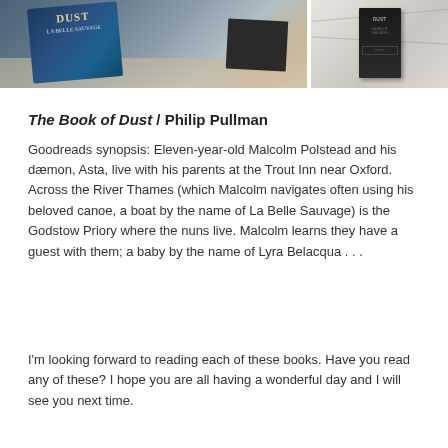[Figure (photo): Two photos of The Book of Dust by Philip Pullman: left photo shows front cover of La Belle Sauvage on a marble surface, right photo shows back cover of the same book on a marble surface.]
The Book of Dust / Philip Pullman
Goodreads synopsis: Eleven-year-old Malcolm Polstead and his dæmon, Asta, live with his parents at the Trout Inn near Oxford. Across the River Thames (which Malcolm navigates often using his beloved canoe, a boat by the name of La Belle Sauvage) is the Godstow Priory where the nuns live. Malcolm learns they have a guest with them; a baby by the name of Lyra Belacqua . . .
I'm looking forward to reading each of these books. Have you read any of these? I hope you are all having a wonderful day and I will see you next time.